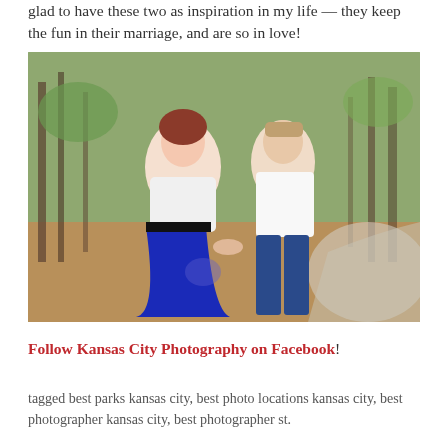glad to have these two as inspiration in my life — they keep the fun in their marriage, and are so in love!
[Figure (photo): A couple holding hands and smiling at each other outdoors on a path surrounded by trees and fallen leaves. The woman wears a white top and bright blue skirt; the man wears a white polo shirt and jeans.]
Follow Kansas City Photography on Facebook!
tagged best parks kansas city, best photo locations kansas city, best photographer kansas city, best photographer st.